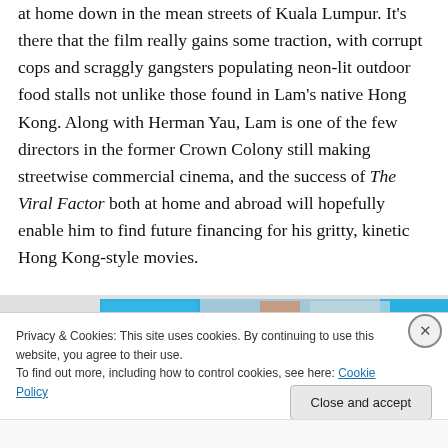at home down in the mean streets of Kuala Lumpur. It's there that the film really gains some traction, with corrupt cops and scraggly gangsters populating neon-lit outdoor food stalls not unlike those found in Lam's native Hong Kong. Along with Herman Yau, Lam is one of the few directors in the former Crown Colony still making streetwise commercial cinema, and the success of The Viral Factor both at home and abroad will hopefully enable him to find future financing for his gritty, kinetic Hong Kong-style movies.
[Figure (screenshot): Partial view of a webpage with blue and image elements]
Privacy & Cookies: This site uses cookies. By continuing to use this website, you agree to their use.
To find out more, including how to control cookies, see here: Cookie Policy
Close and accept